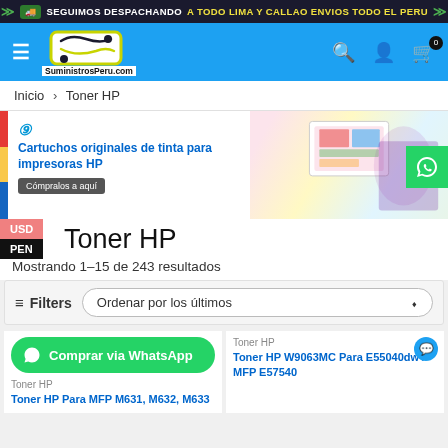SEGUIMOS DESPACHANDO A TODO LIMA Y CALLAO ENVIOS TODO EL PERU
[Figure (screenshot): SuministrosPeru.com e-commerce website header with logo, hamburger menu, search, user icon, and cart icon]
Inicio > Toner HP
[Figure (infographic): HP promotional banner: Cartuchos originales de tinta para impresoras HP. Cómpralos a aquí]
Toner HP
Mostrando 1–15 de 243 resultados
Filters   Ordenar por los últimos
Comprar via WhatsApp
Toner HP
Toner HP W9063MC Para E55040dw / MFP E57540
Toner HP
Toner HP Para MFP M631, M632, M633